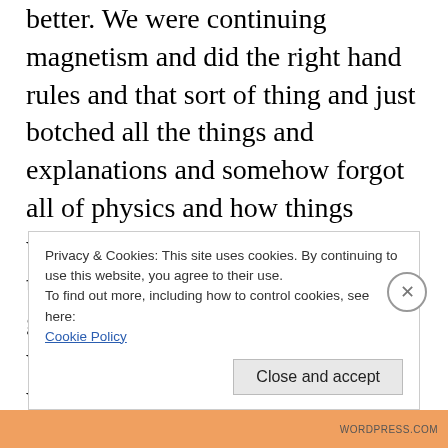better. We were continuing magnetism and did the right hand rules and that sort of thing and just botched all the things and explanations and somehow forgot all of physics and how things work. I remembered by the end of the day and was able to do a pretty good job the second lecture, which was nice, because the first class was my sweet class and the second class was my grumpy, judgy class. When that happens in the opposite direction it makes for a Bad Day.
Privacy & Cookies: This site uses cookies. By continuing to use this website, you agree to their use.
To find out more, including how to control cookies, see here: Cookie Policy